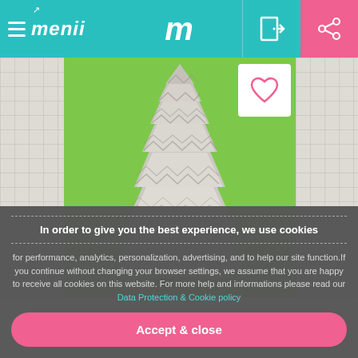menii — navigation bar with hamburger menu, m logo, door icon, and share icon
[Figure (photo): A Christmas tree sculpture made from rolled newspaper/magazine pages arranged in a cone shape, photographed against a bright green wall background]
In order to give you the best experience, we use cookies
for performance, analytics, personalization, advertising, and to help our site function.If you continue without changing your browser settings, we assume that you are happy to receive all cookies on this website. For more help and informations please read our Data Protection & Cookie policy
Accept & close